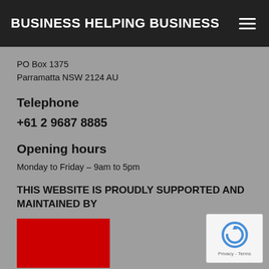BUSINESS HELPING BUSINESS
PO Box 1375
Parramatta NSW 2124 AU
Telephone
+61 2 9687 8885
Opening hours
Monday to Friday – 9am to 5pm
THIS WEBSITE IS PROUDLY SUPPORTED AND MAINTAINED BY
[Figure (logo): Red logo box at bottom left]
[Figure (logo): reCAPTCHA widget with circular arrow logo and Privacy - Terms text]